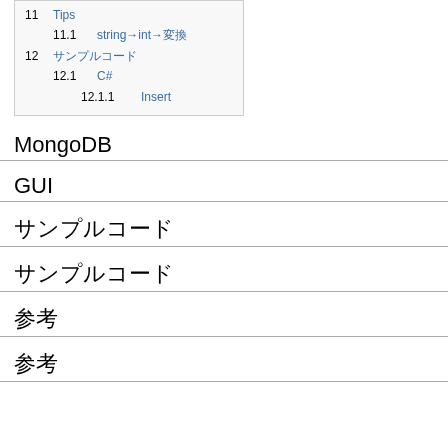11 Tips
11.1 stringをintに変換
12 サンプルコード
12.1 C#
12.1.1 Insert
MongoDB
GUI
サンプルコード
サンプルコード
参考
参考